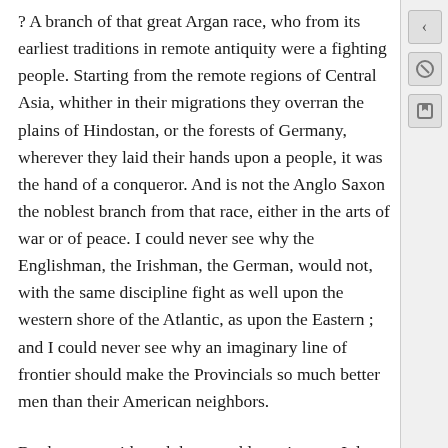? A branch of that great Argan race, who from its earliest traditions in remote antiquity were a fighting people. Starting from the remote regions of Central Asia, whither in their migrations they overran the plains of Hindostan, or the forests of Germany, wherever they laid their hands upon a people, it was the hand of a conqueror. And is not the Anglo Saxon the noblest branch from that race, either in the arts of war or of peace. I could never see why the Englishman, the Irishman, the German, would not, with the same discipline fight as well upon the western shore of the Atlantic, as upon the Eastern ; and I could never see why an imaginary line of frontier should make the Provincials so much better men than their American neighbors.
But because with such heavy odds against us, I do not think that we should be able to repel an invasion from